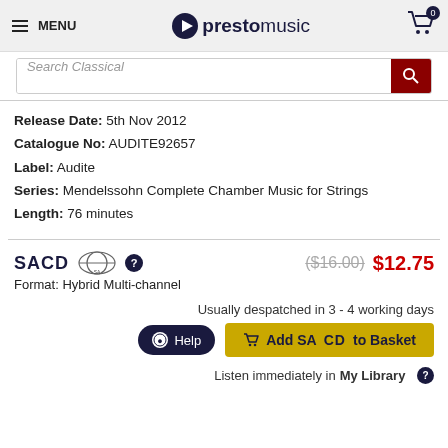MENU | prestomusic
Search Classical
Release Date: 5th Nov 2012
Catalogue No: AUDITE92657
Label: Audite
Series: Mendelssohn Complete Chamber Music for Strings
Length: 76 minutes
SACD  Format: Hybrid Multi-channel  ($16.00) $12.75
Usually despatched in 3 - 4 working days
Add SACD to Basket
Listen immediately in My Library